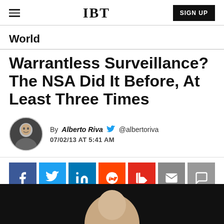IBT | SIGN UP
World
Warrantless Surveillance? The NSA Did It Before, At Least Three Times
By Alberto Riva @albertoriva 07/02/13 AT 5:41 AM
[Figure (other): Photo of article subject, partially visible at bottom of page, dark background]